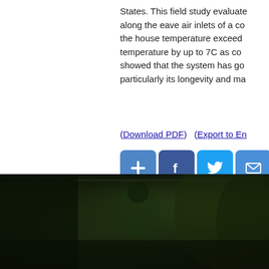States. This field study evaluate along the eave air inlets of a co the house temperature exceed temperature by up to 7C as co showed that the system has go particularly its longevity and ma
(Download PDF)   (Export to En
[Figure (photo): Dark outdoor photo showing a person in green clothing among dark foliage, with a structure visible in the background. Image is very dark with green and black tones.]